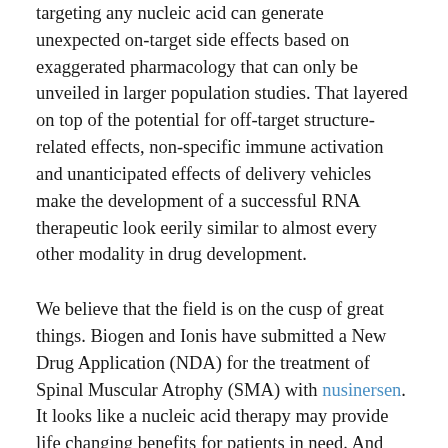targeting any nucleic acid can generate unexpected on-target side effects based on exaggerated pharmacology that can only be unveiled in larger population studies. That layered on top of the potential for off-target structure-related effects, non-specific immune activation and unanticipated effects of delivery vehicles make the development of a successful RNA therapeutic look eerily similar to almost every other modality in drug development.
We believe that the field is on the cusp of great things. Biogen and Ionis have submitted a New Drug Application (NDA) for the treatment of Spinal Muscular Atrophy (SMA) with nusinersen. It looks like a nucleic acid therapy may provide life changing benefits for patients in need. And after all, that's why we do this. Stay tuned for more.